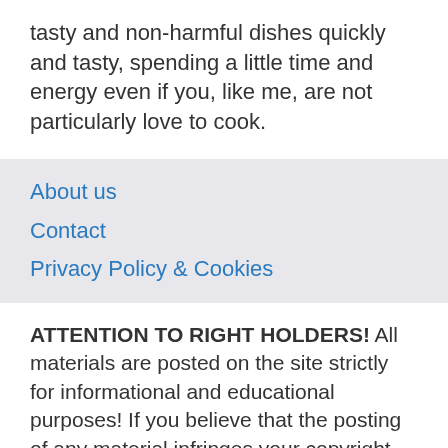tasty and non-harmful dishes quickly and tasty, spending a little time and energy even if you, like me, are not particularly love to cook.
About us
Contact
Privacy Policy & Cookies
ATTENTION TO RIGHT HOLDERS! All materials are posted on the site strictly for informational and educational purposes! If you believe that the posting of any material infringes your copyright, be sure to contact us through the contact form and your